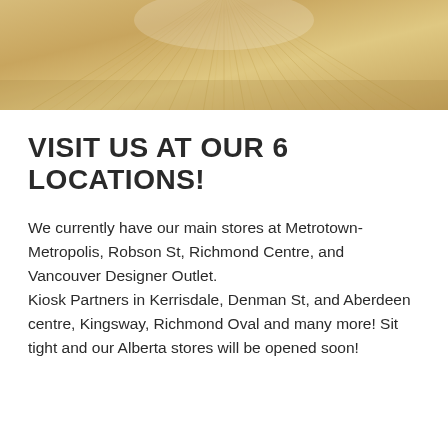[Figure (photo): Close-up overhead photo of light natural wood plank flooring with radiating grain patterns and a glossy sheen]
VISIT US AT OUR 6 LOCATIONS!
We currently have our main stores at Metrotown-Metropolis, Robson St, Richmond Centre, and Vancouver Designer Outlet.
Kiosk Partners in Kerrisdale, Denman St, and Aberdeen centre, Kingsway, Richmond Oval and many more! Sit tight and our Alberta stores will be opened soon!